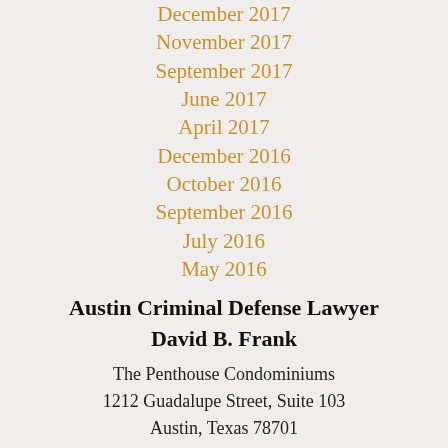December 2017
November 2017
September 2017
June 2017
April 2017
December 2016
October 2016
September 2016
July 2016
May 2016
Austin Criminal Defense Lawyer
David B. Frank
The Penthouse Condominiums
1212 Guadalupe Street, Suite 103
Austin, Texas 78701
Phone: 512 499 0969